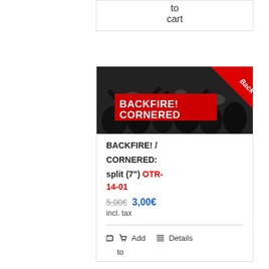to
cart
[Figure (photo): Black and white concert/mosh pit photo with red banner text reading BACKFIRE! CORNERED and a red Back badge in top right corner]
BACKFIRE! / CORNERED: split (7") OTR-14-01
5,00€  3,00€
incl. tax
Add to   Details